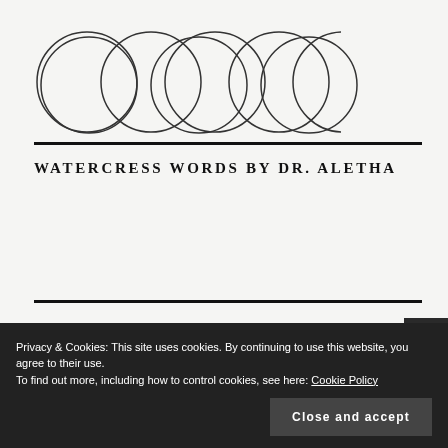[Figure (illustration): Five empty circles arranged in a horizontal row, drawn with thin dark outlines on a light grey background.]
WATERCRESS WORDS BY DR. ALETHA
Privacy & Cookies: This site uses cookies. By continuing to use this website, you agree to their use.
To find out more, including how to control cookies, see here: Cookie Policy
Close and accept